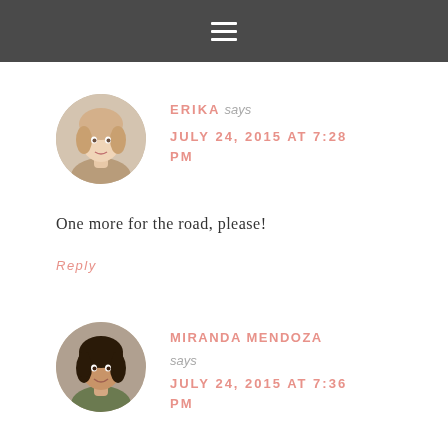☰
ERIKA says JULY 24, 2015 AT 7:28 PM
One more for the road, please!
Reply
MIRANDA MENDOZA says JULY 24, 2015 AT 7:36 PM